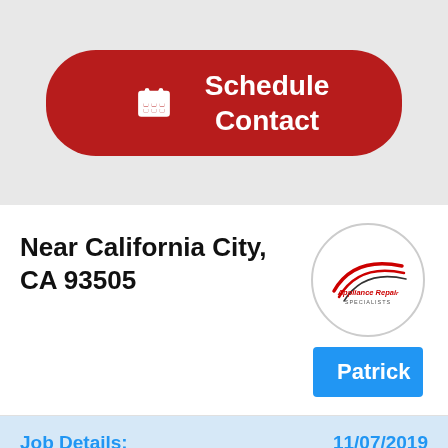[Figure (other): Red pill-shaped button with calendar icon and text 'Schedule Contact']
Near California City, CA 93505
[Figure (logo): Appliance Repair Specialists logo in a circle with swoosh graphic]
Patrick
Job Details:
11/07/2019
REFRIGERATOR WHIRLPOOL WRT138FZDW00 Removed and replaced compressor. Vacuumed and recharged. Tested unit. All ops checked good ; used 1 FREON R134 (4.2 OZ) from stock